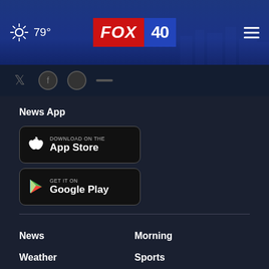79° FOX 40
[Figure (screenshot): Social media icons strip (partial, cut off at top)]
News App
[Figure (screenshot): Download on the App Store button (black, rounded rectangle)]
[Figure (screenshot): GET IT ON Google Play button (black, rounded rectangle)]
News
Morning
Weather
Sports
Video
Community
Studio40 LIVE
Jobs